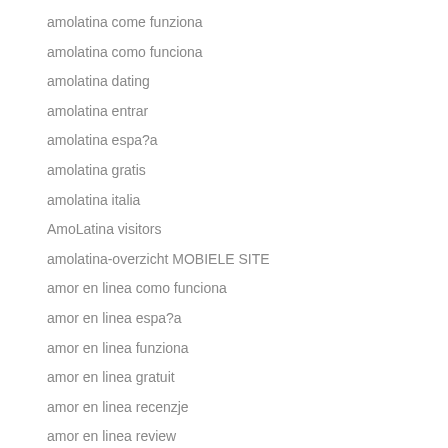amolatina come funziona
amolatina como funciona
amolatina dating
amolatina entrar
amolatina espa?a
amolatina gratis
amolatina italia
AmoLatina visitors
amolatina-overzicht MOBIELE SITE
amor en linea como funciona
amor en linea espa?a
amor en linea funziona
amor en linea gratuit
amor en linea recenzje
amor en linea review